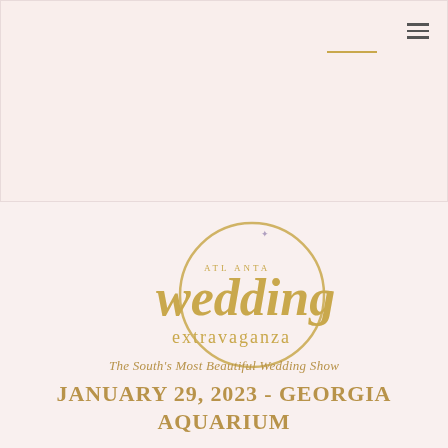[Figure (logo): Atlanta Wedding Extravaganza logo in gold script with a circular flourish]
The South's Most Beautiful Wedding Show
JANUARY 29, 2023 - GEORGIA AQUARIUM